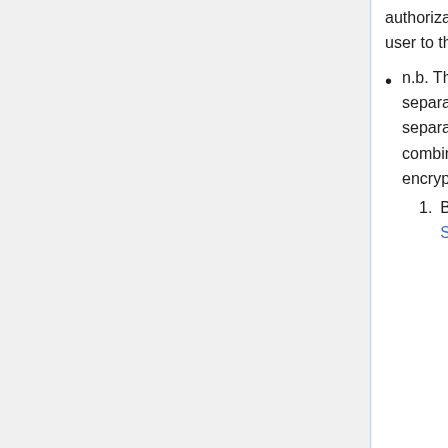authorization or certificate that shows that binding of the user to the resources has been created or reconfirmed.
n.b. The US Health care proposal has decided to separate the binding and consent receipt into two separate JWT/JWS signed jose documents that could be combined into a single JWT/JWE jose envelope for encryption.
Binding Statement (aka Consent Receipt or Entity Statement)
Response to the REQUEST - this is the name, version or identity for message returned by the issuer after the process has been